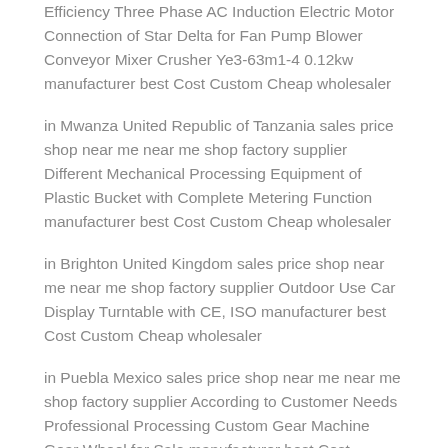Efficiency Three Phase AC Induction Electric Motor Connection of Star Delta for Fan Pump Blower Conveyor Mixer Crusher Ye3-63m1-4 0.12kw manufacturer best Cost Custom Cheap wholesaler
in Mwanza United Republic of Tanzania sales price shop near me near me shop factory supplier Different Mechanical Processing Equipment of Plastic Bucket with Complete Metering Function manufacturer best Cost Custom Cheap wholesaler
in Brighton United Kingdom sales price shop near me near me shop factory supplier Outdoor Use Car Display Turntable with CE, ISO manufacturer best Cost Custom Cheap wholesaler
in Puebla Mexico sales price shop near me near me shop factory supplier According to Customer Needs Professional Processing Custom Gear Machine Gear Wheel for Sale manufacturer best Cost Custom Cheap wholesaler